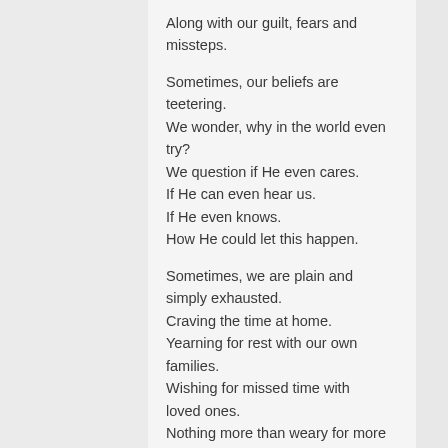Along with our guilt, fears and missteps.
Sometimes, our beliefs are teetering.
We wonder, why in the world even try?
We question if He even cares.
If He can even hear us.
If He even knows.
How He could let this happen.
Sometimes, we are plain and simply exhausted.
Craving the time at home.
Yearning for rest with our own families.
Wishing for missed time with loved ones.
Nothing more than weary for more strength once again.